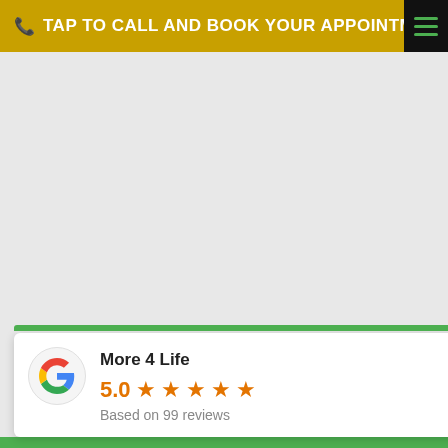TAP TO CALL AND BOOK YOUR APPOINTMENT
[Figure (screenshot): Main content area — large light gray background, appears to be a webpage hero section with empty/loading image area]
[Figure (infographic): Google review card overlay showing More 4 Life with 5.0 stars based on 99 reviews, with Google G logo and green top bar]